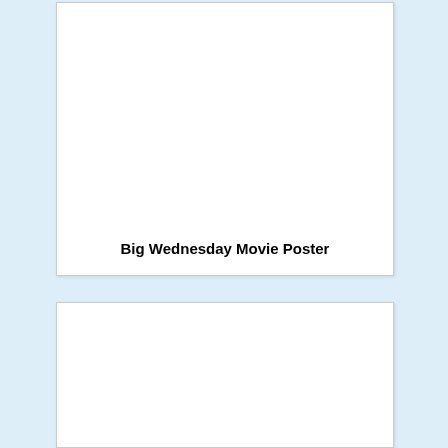[Figure (photo): White rectangular card with empty image area at top]
Big Wednesday Movie Poster
[Figure (photo): White rectangular card partially visible at bottom of page]